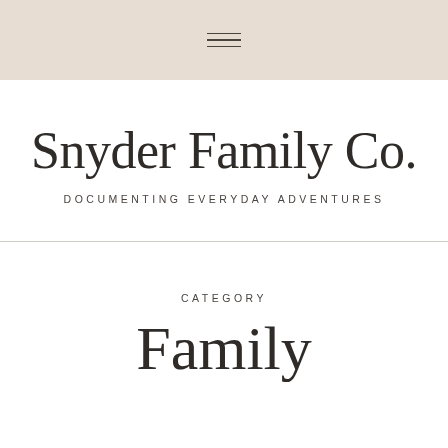☰ (hamburger menu icon)
Snyder Family Co.
DOCUMENTING EVERYDAY ADVENTURES
CATEGORY
Family